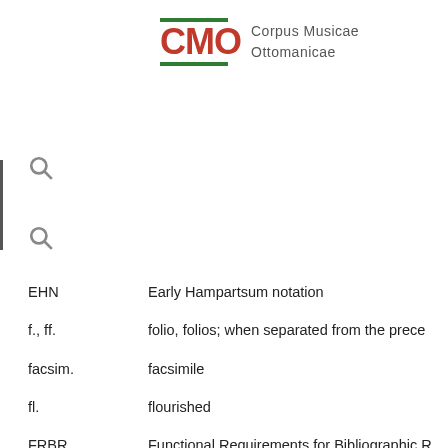[Figure (logo): CMO Corpus Musicae Ottomanicae logo with red CMO letters framed by green horizontal bars and text to the right]
EHN   Early Hampartsum notation
f., ff.   folio, folios; when separated from the prece
facsim.   facsimile
fl.   flourished
FRBR   Functional Requirements for Bibliographic R
GND   Gemeinsame Normdatei (Integrated Author